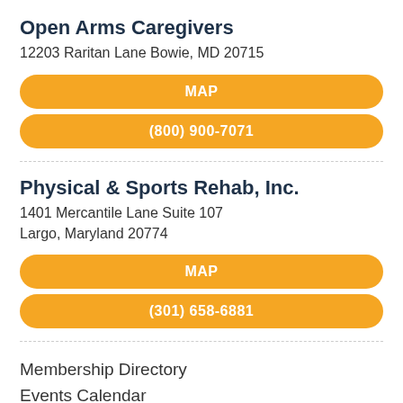Open Arms Caregivers
12203 Raritan Lane Bowie, MD 20715
MAP
(800) 900-7071
Physical & Sports Rehab, Inc.
1401 Mercantile Lane Suite 107
Largo, Maryland 20774
MAP
(301) 658-6881
Membership Directory
Events Calendar